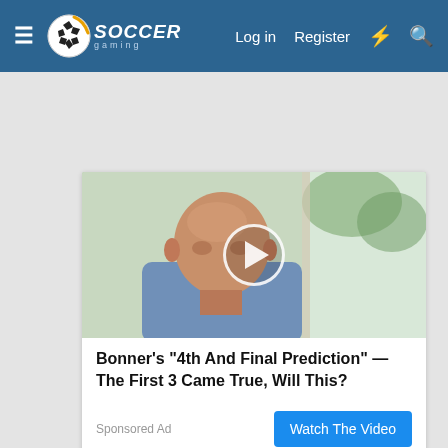Soccer Gaming — Log in  Register
[Figure (screenshot): Video thumbnail showing an elderly bald man in a blue shirt, with a circular play button overlay, outdoor background]
Bonner's "4th And Final Prediction" — The First 3 Came True, Will This?
Sponsored Ad
Watch The Video